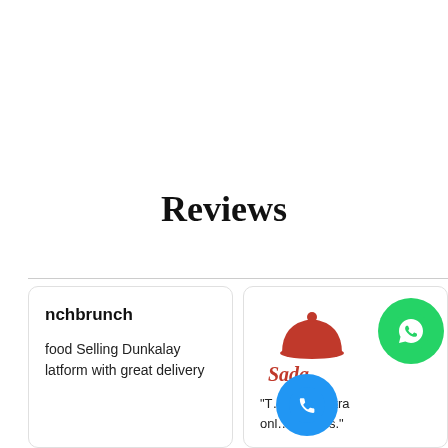Reviews
nchbrunch

food Selling Dunkalay
latform with great delivery
[Figure (logo): Sada home food logo with red dome/cloche icon and cursive red text 'Sada', plus 'home' text below]
"T...ned our tra...
onl...usiness."
[Figure (other): Green WhatsApp floating button icon]
[Figure (other): Blue phone/call floating button icon]